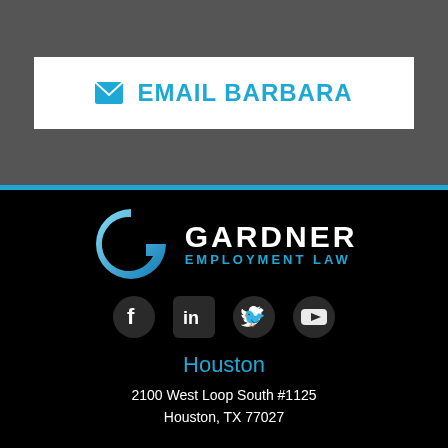[Figure (other): EMAIL BARBARA button with envelope icon on gray background]
[Figure (logo): Gardner Employment Law logo with blue G icon and white/blue text on black background]
[Figure (other): Social media icons: Facebook, LinkedIn, Twitter, YouTube on black background]
Houston
2100 West Loop South #1125
Houston, TX 77027